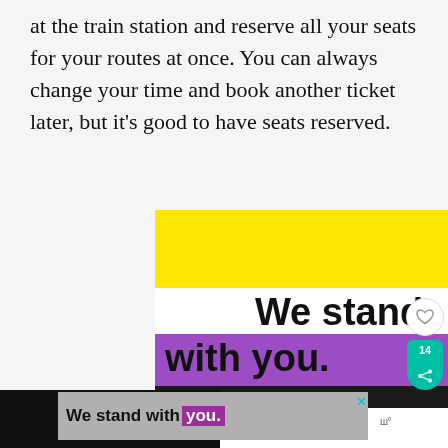at the train station and reserve all your seats for your routes at once. You can always change your time and book another ticket later, but it's good to have seats reserved.
[Figure (infographic): Advertisement banner with yellow background at top, bold text 'We stand with you.' with purple bar behind 'with you.', followed by black bar. A secondary overlapping ad shows 'We stand with you.' on a grey/purple background with a close button and logo.]